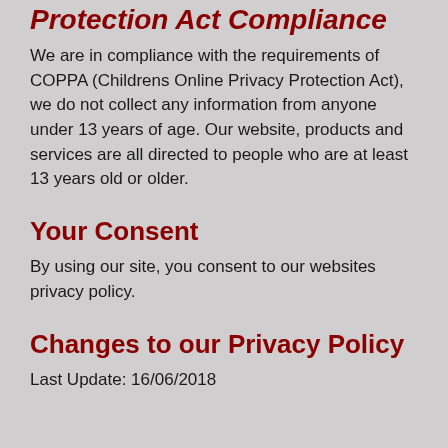Protection Act Compliance
We are in compliance with the requirements of COPPA (Childrens Online Privacy Protection Act), we do not collect any information from anyone under 13 years of age. Our website, products and services are all directed to people who are at least 13 years old or older.
Your Consent
By using our site, you consent to our websites privacy policy.
Changes to our Privacy Policy
Last Update: 16/06/2018